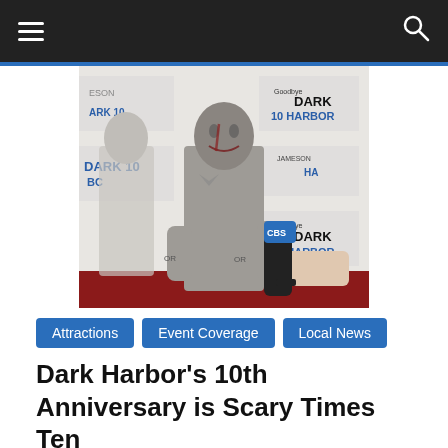Navigation header with hamburger menu and search icon
[Figure (photo): A person in zombie costume with heavy makeup being interviewed with a microphone on a red carpet, in front of a Dark Harbor 10th Anniversary step-and-repeat banner. Another costumed figure is visible in the background.]
Attractions
Event Coverage
Local News
Dark Harbor's 10th Anniversary is Scary Times Ten